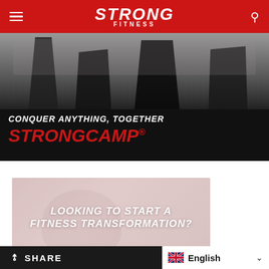STRONG FITNESS
[Figure (photo): Black and white photo of athletes exercising in a gym with kettlebells and battle ropes, with overlaid text: CONQUER ANYTHING, TOGETHER STRONGCAMP®]
[Figure (photo): Faded pinkish-gray photo of a person with overlaid white italic text: LOOKING TO START A FITNESS TRANSFORMATION?]
SHARE  English ▾